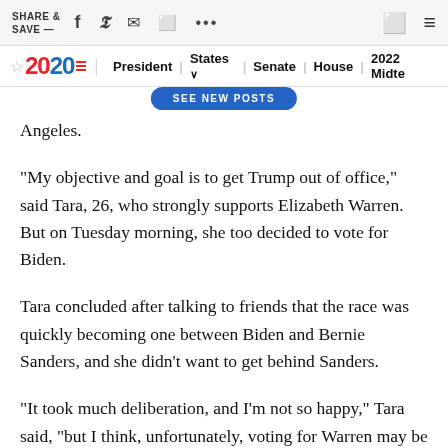SHARE & SAVE —  [icons: facebook, twitter, email, comment, more, bookmark, menu]
★ 2020 | President | States ∨ | Senate | House | 2022 Midterms
[Figure (screenshot): Blue pill-shaped button labeled 'SEE NEW POSTS']
Angeles.
"My objective and goal is to get Trump out of office," said Tara, 26, who strongly supports Elizabeth Warren. But on Tuesday morning, she too decided to vote for Biden.
Tara concluded after talking to friends that the race was quickly becoming one between Biden and Bernie Sanders, and she didn't want to get behind Sanders.
"It took much deliberation, and I'm not so happy," Tara said, "but I think, unfortunately, voting for Warren may be a wasted vote that I don't want to do, even though I love Warren."